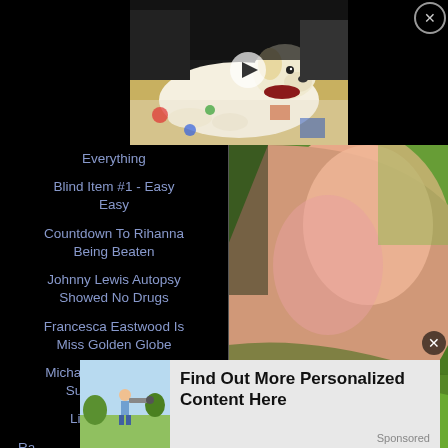[Figure (photo): White golden retriever dog lying on colorful blanket outdoors, with a play button overlay indicating a video]
[Figure (photo): Close-up of a foot/skin pressed against green fabric or shoe]
Everything
Blind Item #1 - Easy Easy
Countdown To Rihanna Being Beaten
Johnny Lewis Autopsy Showed No Drugs
Francesca Eastwood Is Miss Golden Globe
Michael Jackson's Dad Suffers A Stroke
Lindsay Lohan
Ra...
[Figure (photo): Ad thumbnail showing a child with binoculars outdoors]
Find Out More Personalized Content Here
Sponsored